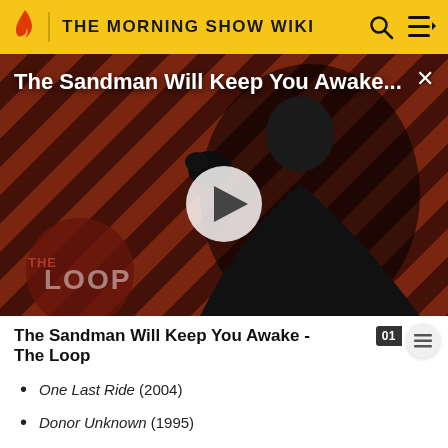THE MORNING SHOW WIKI
[Figure (screenshot): Video thumbnail for 'The Sandman Will Keep You Awake...' showing a dark-caped figure against a red and black diagonal striped background, with a play button in the center and 'THE LOOP' logo at bottom left.]
The Sandman Will Keep You Awake - The Loop
One Last Ride (2004)
Donor Unknown (1995)
The Passion of Martin (1991)